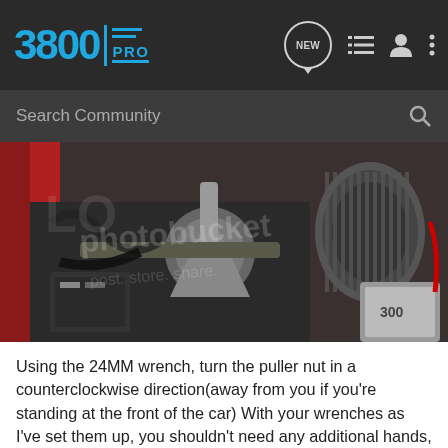3800 PRO
[Figure (photo): Engine bay photo showing a harmonic balancer puller tool installed on a car engine, with an alternator visible on the right side. A Photobucket watermark is overlaid on the image.]
Using the 24MM wrench, turn the puller nut in a counterclockwise direction(away from you if you're standing at the front of the car) With your wrenches as I've set them up, you shouldn't need any additional hands, but make absolutely sure that neither the bar or the crescent wrench turns, anything turning but the 24MM wrench at this point will result in a broken